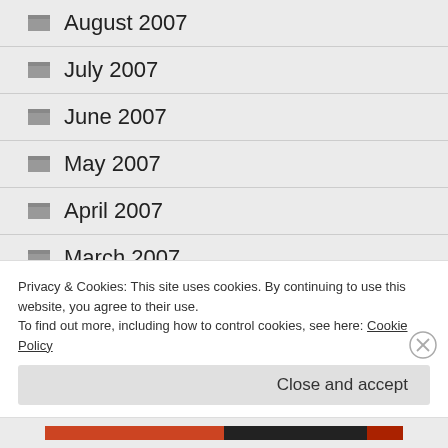August 2007
July 2007
June 2007
May 2007
April 2007
March 2007
February 2007
Advertisements
Privacy & Cookies: This site uses cookies. By continuing to use this website, you agree to their use.
To find out more, including how to control cookies, see here: Cookie Policy
Close and accept